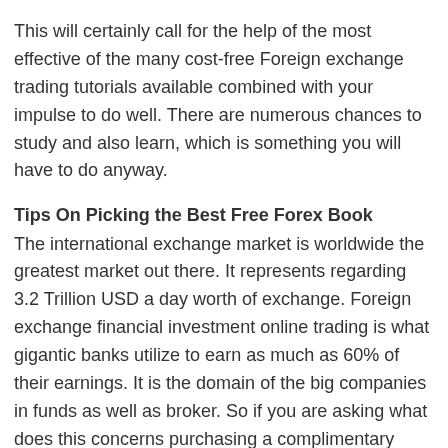This will certainly call for the help of the most effective of the many cost-free Foreign exchange trading tutorials available combined with your impulse to do well. There are numerous chances to study and also learn, which is something you will have to do anyway.
Tips On Picking the Best Free Forex Book
The international exchange market is worldwide the greatest market out there. It represents regarding 3.2 Trillion USD a day worth of exchange. Foreign exchange financial investment online trading is what gigantic banks utilize to earn as much as 60% of their earnings. It is the domain of the big companies in funds as well as broker. So if you are asking what does this concerns purchasing a complimentary Forex publication?